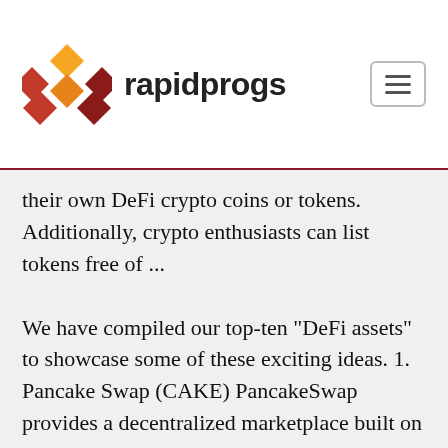rapidprogs
their own DeFi crypto coins or tokens. Additionally, crypto enthusiasts can list tokens free of ...
We have compiled our top-ten "DeFi assets" to showcase some of these exciting ideas. 1. Pancake Swap (CAKE) PancakeSwap provides a decentralized marketplace built on Binance's Smart Chain. It is an alternative to Ethereum, which has been known for its fast and inexpensive transactions, but slow development speed. Swapp was listed on Crypto.com DeFi wallet on August 6th, the fastest crypto ever to be listed on